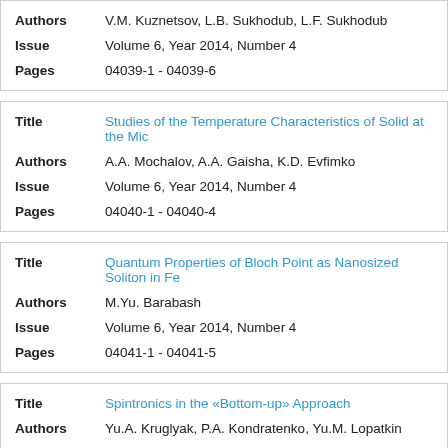| Label | Value |
| --- | --- |
| Title | Electron Microscopy with Electron Diffraction |
| Authors | V.M. Kuznetsov, L.B. Sukhodub, L.F. Sukhodub |
| Issue | Volume 6, Year 2014, Number 4 |
| Pages | 04039-1 - 04039-6 |
| Label | Value |
| --- | --- |
| Title | Studies of the Temperature Characteristics of Solid at the Mic... |
| Authors | A.A. Mochalov, A.A. Gaisha, K.D. Evfimko |
| Issue | Volume 6, Year 2014, Number 4 |
| Pages | 04040-1 - 04040-4 |
| Label | Value |
| --- | --- |
| Title | Quantum Properties of Bloch Point as Nanosized Soliton in Fe... |
| Authors | M.Yu. Barabash |
| Issue | Volume 6, Year 2014, Number 4 |
| Pages | 04041-1 - 04041-5 |
| Label | Value |
| --- | --- |
| Title | Spintronics in the «Bottom-up» Approach |
| Authors | Yu.A. Kruglyak, P.A. Kondratenko, Yu.M. Lopatkin |
| Issue | Volume 6, Year 2014, Number 4 |